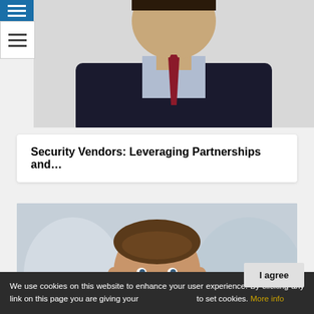[Figure (photo): Partial view of a man in a dark suit with a red tie and light blue shirt, cropped at neck and shoulders, set against a light background.]
Security Vendors: Leveraging Partnerships and…
[Figure (photo): Headshot of a smiling young man with brown hair, wearing a suit, against a blurred office background.]
We use cookies on this website to enhance your user experience. By clicking any link on this page you are giving your consent to set cookies. More info